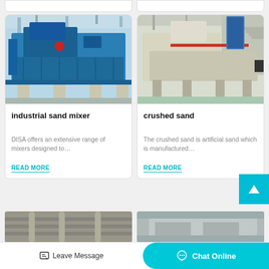[Figure (photo): Industrial blue sand mixer machine in a factory setting]
industrial sand mixer
DISA offers an extensive range of mixers designed to…
READ MORE
[Figure (photo): Crushed sand manufacturing machine (cream/beige colored) in an industrial facility]
crushed sand
The crushed sand is artificial sand which is manufactured…
READ MORE
[Figure (photo): Partial view of industrial piping/ducting equipment]
[Figure (photo): Partial view of industrial facility interior]
Leave Message
Chat Online